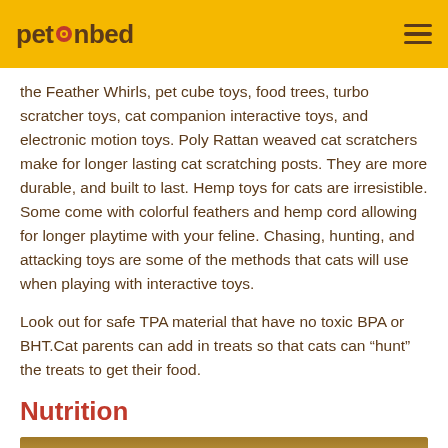petonbed
the Feather Whirls, pet cube toys, food trees, turbo scratcher toys, cat companion interactive toys, and electronic motion toys. Poly Rattan weaved cat scratchers make for longer lasting cat scratching posts. They are more durable, and built to last. Hemp toys for cats are irresistible. Some come with colorful feathers and hemp cord allowing for longer playtime with your feline. Chasing, hunting, and attacking toys are some of the methods that cats will use when playing with interactive toys.
Look out for safe TPA material that have no toxic BPA or BHT.Cat parents can add in treats so that cats can “hunt” the treats to get their food.
Nutrition
[Figure (photo): A cat or animal partially visible in a golden/amber colored field or background, cropped at bottom of page]